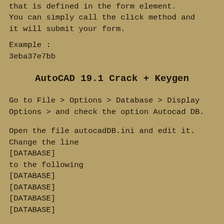that is defined in the form element. You can simply call the click method and it will submit your form.
Example :
3eba37e7bb
AutoCAD 19.1 Crack + Keygen
Go to File > Options > Database > Display Options > and check the option Autocad DB.
Open the file autocadDB.ini and edit it. Change the line
[DATABASE]
to the following
[DATABASE]
[DATABASE]
[DATABASE]
[DATABASE]